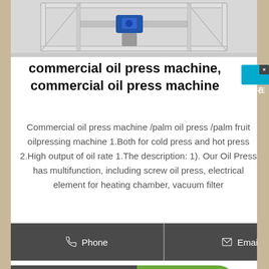[Figure (photo): Industrial oil press machine photographed from above, metal frame structure with motor, on concrete floor]
commercial oil press machine, commercial oil press machine
Commercial oil press machine /palm oil press /palm fruit oilpressing machine 1.Both for cold press and hot press 2.High output of oil rate 1.The description: 1). Our Oil Press has multifunction, including screw oil press, electrical element for heating chamber, vacuum filter